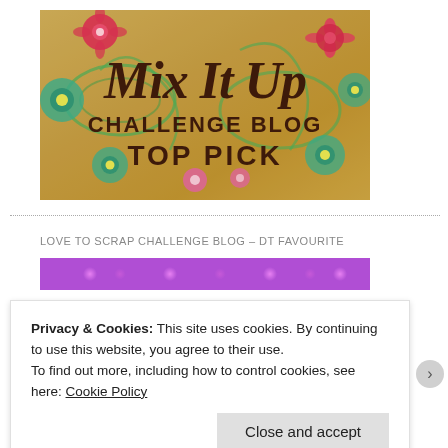[Figure (illustration): Mix It Up Challenge Blog Top Pick badge — decorative illustrated badge with warm golden-tan background, colorful flowers (red, pink, green, teal), swirls, and dark brown text reading 'Mix It Up CHALLENGE BLOG TOP PICK']
LOVE TO SCRAP CHALLENGE BLOG – DT FAVOURITE
[Figure (illustration): Purple floral patterned banner strip — partial view of a Love to Scrap Challenge Blog banner with purple background and light pink/white flower pattern]
Privacy & Cookies: This site uses cookies. By continuing to use this website, you agree to their use.
To find out more, including how to control cookies, see here: Cookie Policy
Close and accept